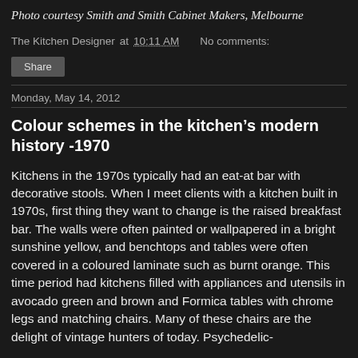Photo courtesy Smith and Smith Cabinet Makers, Melbourne
The Kitchen Designer at 10:11 AM   No comments:
Share
Monday, May 14, 2012
Colour schemes in the kitchen's modern history -1970
Kitchens in the 1970s typically had an eat-at bar with decorative stools. When I meet clients with a kitchen built in 1970s, first thing they want to change is the raised breakfast bar. The walls were often painted or wallpapered in a bright sunshine yellow, and benchtops and tables were often covered in a coloured laminate such as burnt orange. This time period had kitchens filled with appliances and utensils in avocado green and brown and Formica tables with chrome legs and matching chairs. Many of these chairs are the delight of vintage hunters of today. Psychedelic-